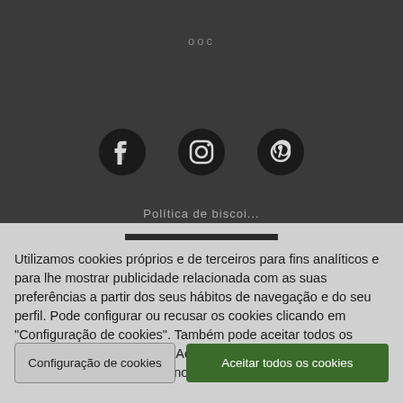[Figure (screenshot): Three social media icons: Facebook, Instagram, Pinterest on dark grey background]
Utilizamos cookies próprios e de terceiros para fins analíticos e para lhe mostrar publicidade relacionada com as suas preferências a partir dos seus hábitos de navegação e do seu perfil. Pode configurar ou recusar os cookies clicando em "Configuração de cookies". Também pode aceitar todos os cookies, premindo o botão "Aceitar todos os cookies". Para mais informações, pode visitar a nossa Política de Privacidade
Configuração de cookies
Aceitar todos os cookies